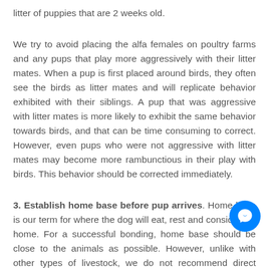litter of puppies that are 2 weeks old.
We try to avoid placing the alfa females on poultry farms and any pups that play more aggressively with their litter mates. When a pup is first placed around birds, they often see the birds as litter mates and will replicate behavior exhibited with their siblings. A pup that was aggressive with litter mates is more likely to exhibit the same behavior towards birds, and that can be time consuming to correct. However, even pups who were not aggressive with litter mates may become more rambunctious in their play with birds. This behavior should be corrected immediately.
3. Establish home base before pup arrives. Home base is our term for where the dog will eat, rest and consider his home. For a successful bonding, home base should be close to the animals as possible. However, unlike with other types of livestock, we do not recommend direct access to